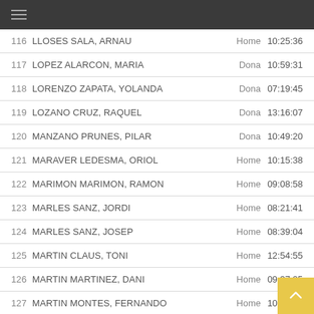116 LLOSES SALA, ARNAU — Home 10:25:36
117 LOPEZ ALARCON, MARIA — Dona 10:59:31
118 LORENZO ZAPATA, YOLANDA — Dona 07:19:45
119 LOZANO CRUZ, RAQUEL — Dona 13:16:07
120 MANZANO PRUNES, PILAR — Dona 10:49:20
121 MARAVER LEDESMA, ORIOL — Home 10:15:38
122 MARIMON MARIMON, RAMON — Home 09:08:58
123 MARLES SANZ, JORDI — Home 08:21:41
124 MARLES SANZ, JOSEP — Home 08:39:04
125 MARTIN CLAUS, TONI — Home 12:54:55
126 MARTIN MARTINEZ, DANI — Home 09:37:25
127 MARTIN MONTES, FERNANDO — Home 10:19:02
128 MARTIN NEIRA, CARLES — Home 10:25:39
129 MARTINEZ FONT, JAUME — Home 05:57:32